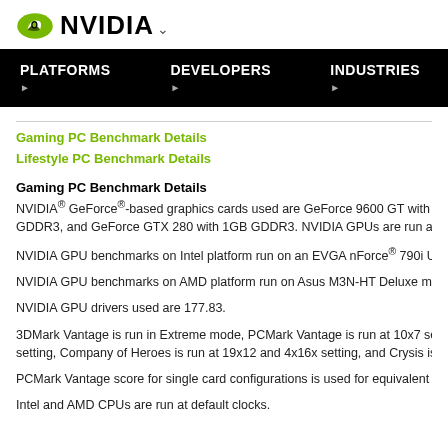NVIDIA
PLATFORMS  DEVELOPERS  INDUSTRIES
Gaming PC Benchmark Details
Lifestyle PC Benchmark Details
Gaming PC Benchmark Details
NVIDIA® GeForce®-based graphics cards used are GeForce 9600 GT with 512MB GDDR3, and GeForce GTX 280 with 1GB GDDR3. NVIDIA GPUs are run at de...
NVIDIA GPU benchmarks on Intel platform run on an EVGA nForce® 790i Ultr...
NVIDIA GPU benchmarks on AMD platform run on Asus M3N-HT Deluxe mot...
NVIDIA GPU drivers used are 177.83.
3DMark Vantage is run in Extreme mode, PCMark Vantage is run at 10x7 se... setting, Company of Heroes is run at 19x12 and 4x16x setting, and Crysis is r...
PCMark Vantage score for single card configurations is used for equivalent S...
Intel and AMD CPUs are run at default clocks.